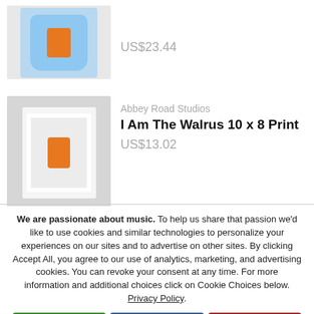[Figure (photo): Product image of a light blue baby onesie with an orange illustrated character on a light gray background]
US$23.44
[Figure (photo): Product image of a framed 10x8 print showing an orange illustrated walrus character on a light blue background, displayed on a gray background]
Abbey Road Studios
I Am The Walrus 10 x 8 Print
US$13.02
We are passionate about music. To help us share that passion we'd like to use cookies and similar technologies to personalize your experiences on our sites and to advertise on other sites. By clicking Accept All, you agree to our use of analytics, marketing, and advertising cookies. You can revoke your consent at any time. For more information and additional choices click on Cookie Choices below. Privacy Policy.
Accept All
Cookie Choices
Decline All